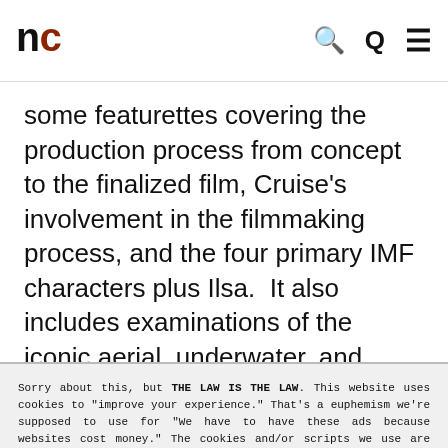nc [logo with search and menu icons]
some featurettes covering the production process from concept to the finalized film, Cruise's involvement in the filmmaking process, and the four primary IMF characters plus Ilsa.  It also includes examinations of the iconic aerial, underwater, and
Sorry about this, but THE LAW IS THE LAW. This website uses cookies to "improve your experience." That's a euphemism we're supposed to use for "We have to have these ads because websites cost money." The cookies and/or scripts we use are mostly from Google Analytics, AdSense, and YouTube. However we've instructed Google to anonymize any data that they collect. Just so you know. We'll assume you're ok with this, but you can opt-out if you wish. Just bear in mind, certain embeds and such might not work.<br /> <br /> Also, please be aware that when we link out to products, we may earn a commission for doing so. Because we're certainly not doing it for our health. See our privacy policy & terms of use for more info than you would ever want to know. - Privacy Policy & Terms of Use
Accept | Decline | Cookie Settings